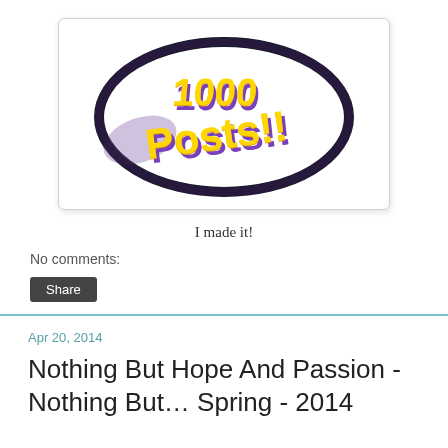[Figure (illustration): Stylized 3D graphic showing '1000 Posts!!' text in orange/yellow with purple shadows, surrounded by a dark oval/ellipse ring, on a white background inside a rounded card.]
I made it!
No comments:
Share
Apr 20, 2014
Nothing But Hope And Passion - Nothing But… Spring - 2014